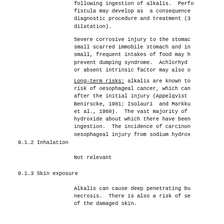following ingestion of alkalis. Perfo fistula may develop as  a consequence diagnostic procedure and treatment (3 dilatation).
Severe corrosive injury to the stomac small scarred immobile stomach and in small, frequent intakes of food may h prevent dumping syndrome.  Achlorhyd or absent intrinsic factor may also o
Long-term risks: alkalis are known to risk of oesophageal cancer, which can after the initial injury (Appelqvist Benirscke, 1981; Isolauri  and Markku et al., 1968).  The vast majority of hydroxide about which there have been ingestion.  The incidence of carcinon oesophageal injury from sodium hydrox
9.1.2   Inhalation
Not relevant
9.1.3   Skin exposure
Alkalis can cause deep penetrating bu necrosis.  There is also a risk of se of the damaged skin.